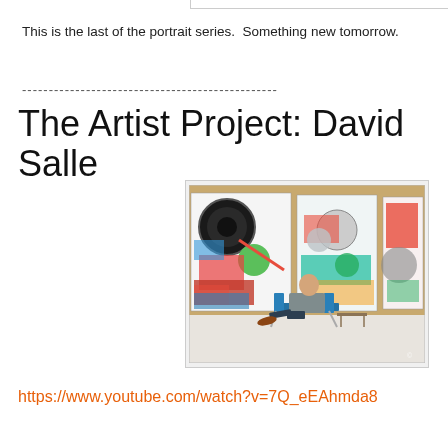This is the last of the portrait series.  Something new tomorrow.
------------------------------------------------
The Artist Project: David Salle
[Figure (photo): David Salle seated in a modern chair in his studio, surrounded by large colorful abstract paintings on a wood-paneled wall]
https://www.youtube.com/watch?v=7Q_eEAhmda8